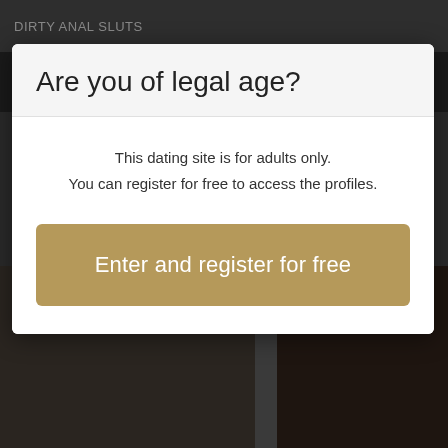DIRTY ANAL SLUTS
Are you of legal age?
This dating site is for adults only.
You can register for free to access the profiles.
Enter and register for free
[Figure (photo): Dark background images below the modal dialog]